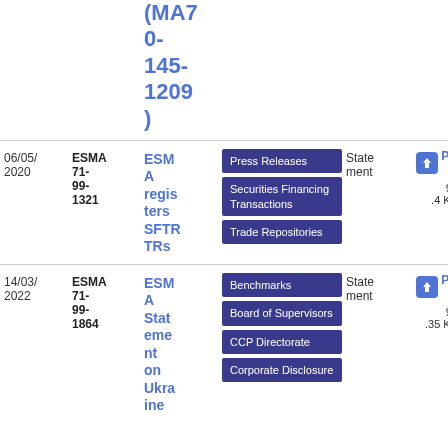(MA70-145-1209)
| Date | Reference | Title | Tags | Type | Download |
| --- | --- | --- | --- | --- | --- |
| 06/05/2020 | ESMA 71-99-1321 | ESMA registers SFTRTRs | Press Releases | Securities Financing Transactions | Trade Repositories | Statement | PDF 95.4 KB |
| 14/03/2022 | ESMA 71-99-1864 | ESMA Statement on Ukraine | Benchmarks | Board of Supervisors | CCP Directorate | Corporate Disclosure | Statement | PDF 93.35 KB |